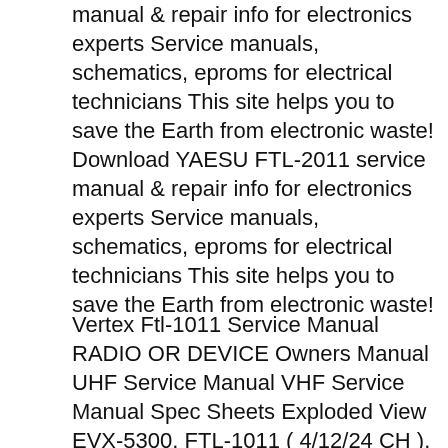manual & repair info for electronics experts Service manuals, schematics, eproms for electrical technicians This site helps you to save the Earth from electronic waste! Download YAESU FTL-2011 service manual & repair info for electronics experts Service manuals, schematics, eproms for electrical technicians This site helps you to save the Earth from electronic waste!
Vertex Ftl-1011 Service Manual RADIO OR DEVICE Owners Manual UHF Service Manual VHF Service Manual Spec Sheets Exploded View EVX-5300. FTL-1011 ( 4/12/24 CH ). OM. Yaesu(Vertex) FTL-2011, 1011, 7011 FTL-1011 Low band 29.7-50Mhz 110W/60W RADIO OR